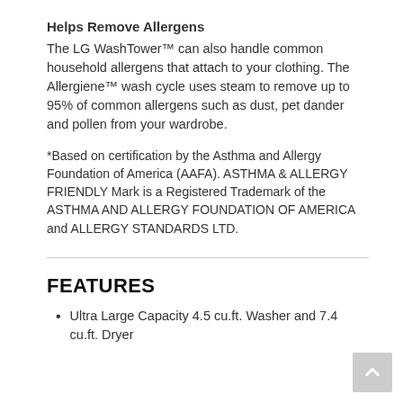Helps Remove Allergens
The LG WashTower™ can also handle common household allergens that attach to your clothing. The Allergiene™ wash cycle uses steam to remove up to 95% of common allergens such as dust, pet dander and pollen from your wardrobe.
*Based on certification by the Asthma and Allergy Foundation of America (AAFA). ASTHMA & ALLERGY FRIENDLY Mark is a Registered Trademark of the ASTHMA AND ALLERGY FOUNDATION OF AMERICA and ALLERGY STANDARDS LTD.
FEATURES
Ultra Large Capacity 4.5 cu.ft. Washer and 7.4 cu.ft. Dryer